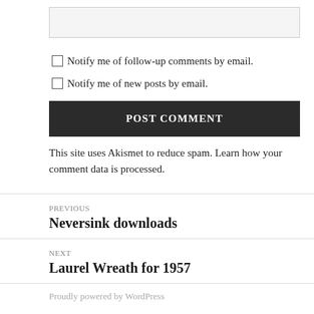[textarea input box]
Notify me of follow-up comments by email.
Notify me of new posts by email.
POST COMMENT
This site uses Akismet to reduce spam. Learn how your comment data is processed.
PREVIOUS
Neversink downloads
NEXT
Laurel Wreath for 1957
Proudly powered by WordPress